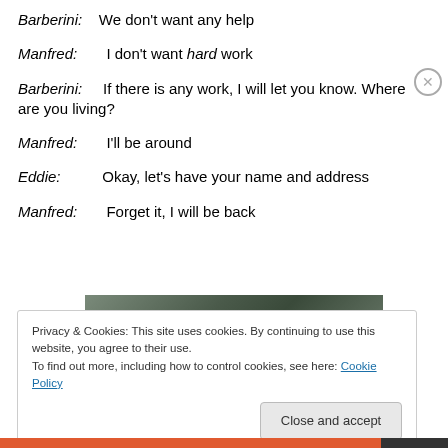Barberini: We don't want any help
Manfred: I don't want hard work
Barberini: If there is any work, I will let you know. Where are you living?
Manfred: I'll be around
Eddie: Okay, let's have your name and address
Manfred: Forget it, I will be back
[Figure (photo): Partial photo of a person, top of head visible]
Privacy & Cookies: This site uses cookies. By continuing to use this website, you agree to their use. To find out more, including how to control cookies, see here: Cookie Policy
Close and accept